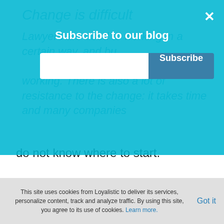Change is difficult
Lawyers are used to working in a certain way, and buying software that fits into this way of working. There is also a lot of resistance to the change: it takes time and many companies do not know where to start.
Subscribe to our blog
Peter Wallqvist from Ravn told that they understood that artificial intelligence needs to be integrated into the tools which are used daily, in order to lower the threshold. Therefore they started working with the document management to...
This site uses cookies from Loyalistic to deliver its services, personalize content, track and analyze traffic. By using this site, you agree to its use of cookies. Learn more.